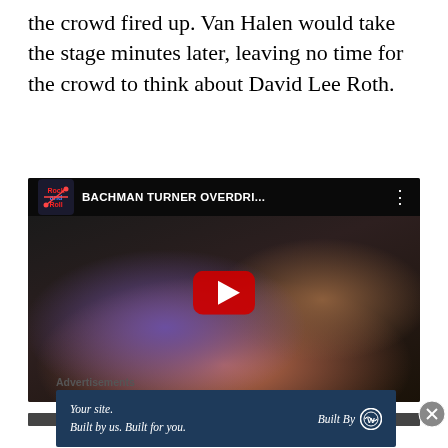the crowd fired up. Van Halen would take the stage minutes later, leaving no time for the crowd to think about David Lee Roth.
[Figure (screenshot): YouTube video thumbnail showing Bachman Turner Overdrive performing live on stage. The video player shows a dark concert scene with musicians. The video title bar reads 'BACHMAN TURNER OVERDRI...' with a YouTube play button overlay in the center.]
Advertisements
[Figure (screenshot): WordPress advertisement banner with dark blue background reading 'Your site. Built by us. Built for you.' and 'Built By' with WordPress logo on the right.]